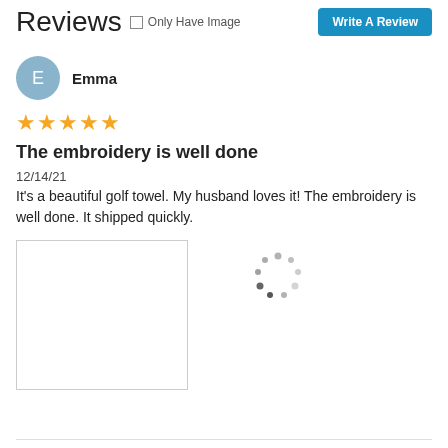Reviews  Only Have Image  Write A Review
Emma
★★★★★
The embroidery is well done
12/14/21
It's a beautiful golf towel. My husband loves it! The embroidery is well done. It shipped quickly.
[Figure (other): Empty white image placeholder box with border, and a loading spinner (dots in a circle) to the right]